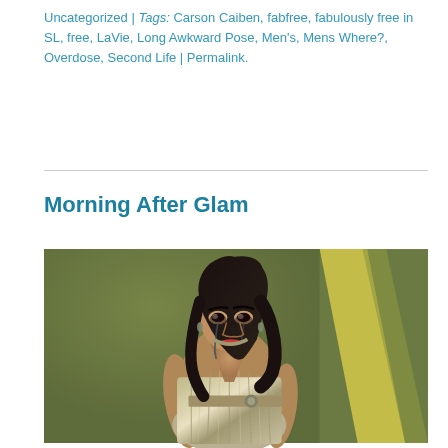Uncategorized | Tags: Carson Caiben, fabfree, fabulously free in SL, free, LaVie, Long Awkward Pose, Men's, Mens Where?, Overdose, Second Life | Permalink.
Morning After Glam
[Figure (photo): Second Life avatar of a woman with dark hair wearing a silver/grey draped halter gown with deep V-neckline, standing against an olive-green background with a bright yellow-white vertical light panel on the right side. The avatar has dramatic makeup with tears running down her face and red lips.]